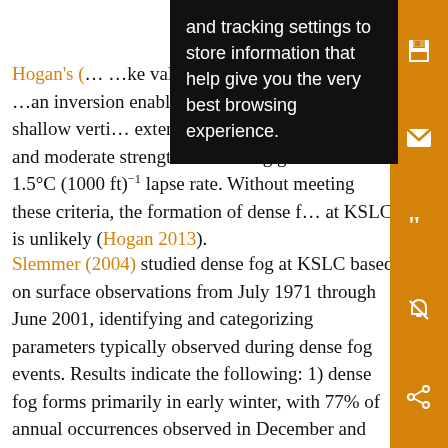[Figure (screenshot): Black tooltip overlay showing text: 'and tracking settings to store information that help give you the very best browsing experience.']
Hogan's (…) …ke valley de… …vel inversions… …an inversion enabling dense fog formation: a shallow verti… extent, less than 3700 ft in height, and moderate strengt… exhibiting greater than 1.5°C (1000 ft)−1 lapse rate. Without meeting these criteria, the formation of dense f… at KSLC is unlikely (Hogan 2013).
Slemmer (2004) studied dense fog at KSLC based on surface observations from July 1971 through June 2001, identifying and categorizing parameters typically observed during dense fog events. Results indicate the following: 1) dense fog forms primarily in early winter, with 77% of annual occurrences observed in December and January and 18% in February; 2) northwesterly and